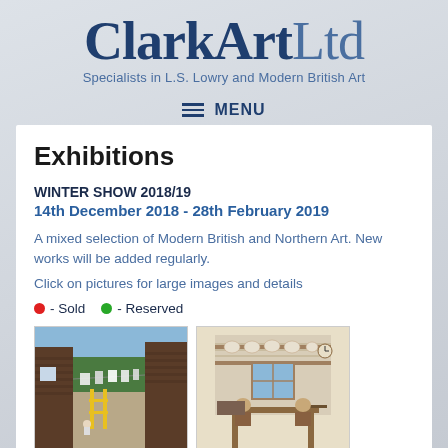ClarkArtLtd
Specialists in L.S. Lowry and Modern British Art
MENU
Exhibitions
WINTER SHOW 2018/19
14th December 2018 - 28th February 2019
A mixed selection of Modern British and Northern Art. New works will be added regularly.
Click on pictures for large images and details
● - Sold   ● - Reserved
[Figure (photo): Painting showing a back alley with laundry on a washing line, brick walls, and a yellow gate]
[Figure (photo): Painting showing an interior kitchen scene with shelves, dishes, a window, and figures]